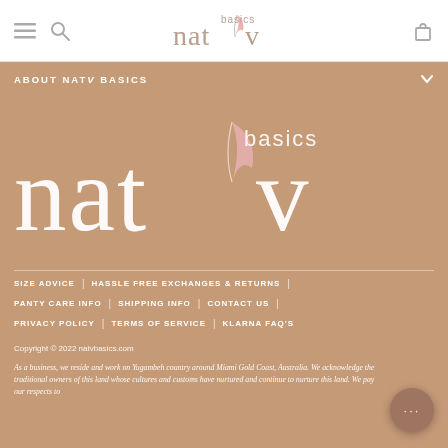nat/v basics — navigation header with hamburger menu, search icon, logo, and cart icon
ABOUT NATV BASICS
[Figure (logo): nativ basics logo — large white text 'natv' with pink feather/leaf accent and 'basics' in smaller text, on tan/terracotta background]
SIZE ADVICE
HASSLE FREE EXCHANGES & RETURNS
PANTY CARE INFO
SHIPPING INFO
CONTACT US
PRIVACY POLICY
TERMS OF SERVICE
KLARNA FAQ'S
Copyright © 2022 natvbasics.com
As a business, we reside and work on Yugambeh country around Miami Gold Coast, Australia. We acknowledge the traditional owners of this land whose cultures and customs have nurtured and continue to nurture this land. We pay our respects to